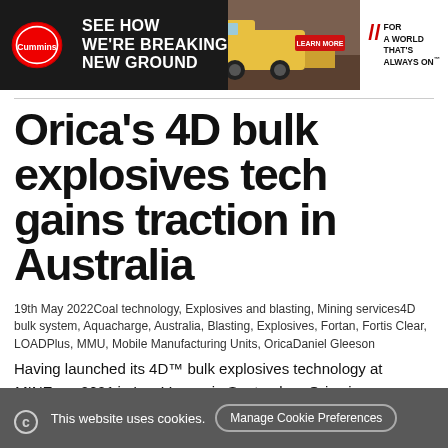[Figure (other): Cummins advertisement banner showing a large mining truck with headline 'See How We're Breaking New Ground', a red 'Learn More' button, and tagline 'For A World That's Always On']
Orica's 4D bulk explosives tech gains traction in Australia
19th May 2022Coal technology, Explosives and blasting, Mining services4D bulk system, Aquacharge, Australia, Blasting, Explosives, Fortan, Fortis Clear, LOADPlus, MMU, Mobile Manufacturing Units, OricaDaniel Gleeson
Having launched its 4D™ bulk explosives technology at MINExpo 2021 in Las Vegas, in September, Orica is now
This website uses cookies.  Manage Cookie Preferences